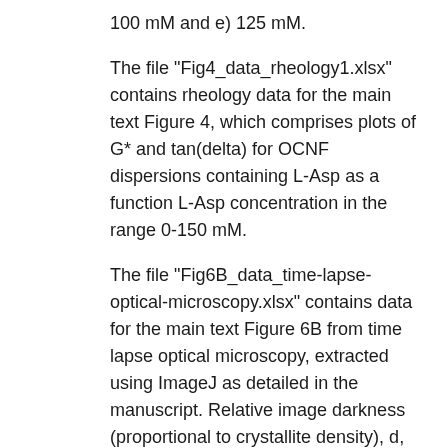100 mM and e) 125 mM.
The file "Fig4_data_rheology1.xlsx" contains rheology data for the main text Figure 4, which comprises plots of G* and tan(delta) for OCNF dispersions containing L-Asp as a function L-Asp concentration in the range 0-150 mM.
The file "Fig6B_data_time-lapse-optical-microscopy.xlsx" contains data for the main text Figure 6B from time lapse optical microscopy, extracted using ImageJ as detailed in the manuscript. Relative image darkness (proportional to crystallite density), d, is plotted as a function of time for 100 microL of OCNF dispersions with the following ligand concentrations: a) 50 mM L-Asp